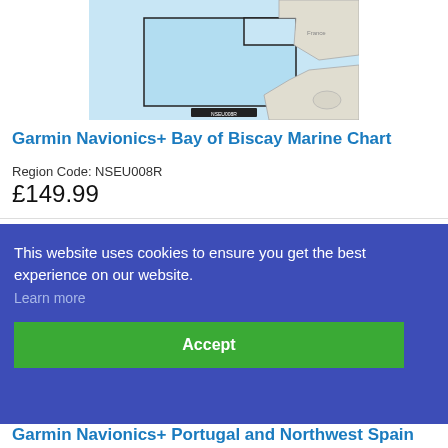[Figure (map): Map showing Bay of Biscay region with blue ocean area and outlined coverage region, with a small label/legend at the bottom center]
Garmin Navionics+ Bay of Biscay Marine Chart
Region Code: NSEU008R
£149.99
This website uses cookies to ensure you get the best experience on our website.
Learn more
Accept
Garmin Navionics+ Portugal and Northwest Spain